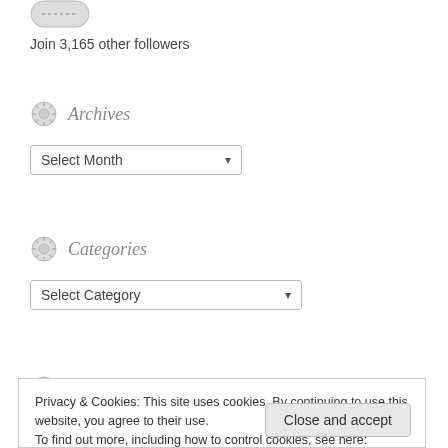[Figure (illustration): Partial view of a rounded button/widget icon at the top]
Join 3,165 other followers
Archives
[Figure (illustration): Select Month dropdown box]
Categories
[Figure (illustration): Select Category dropdown box]
Recent Comments
Privacy & Cookies: This site uses cookies. By continuing to use this website, you agree to their use.
To find out more, including how to control cookies, see here: Cookie Policy
Close and accept